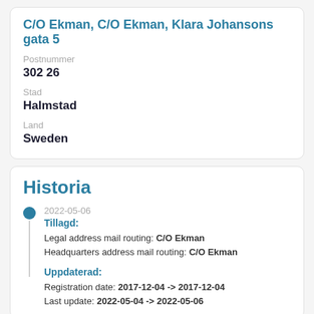C/O Ekman, C/O Ekman, Klara Johansons gata 5
Postnummer
302 26
Stad
Halmstad
Land
Sweden
Historia
2022-05-06
Tillagd:
Legal address mail routing: C/O Ekman
Headquarters address mail routing: C/O Ekman
Uppdaterad:
Registration date: 2017-12-04 -> 2017-12-04
Last update: 2022-05-04 -> 2022-05-06